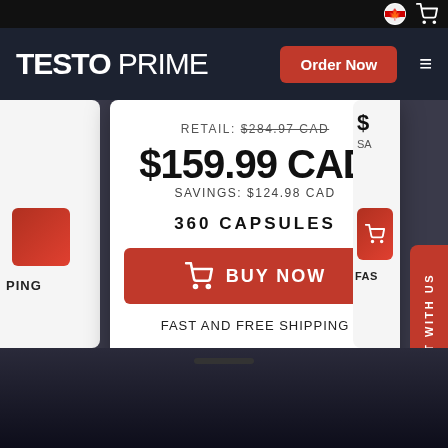TESTO PRIME
Order Now
RETAIL: $284.97 CAD
$159.99 CAD
SAVINGS: $124.98 CAD
360 CAPSULES
BUY NOW
FAST AND FREE SHIPPING
CHAT WITH US